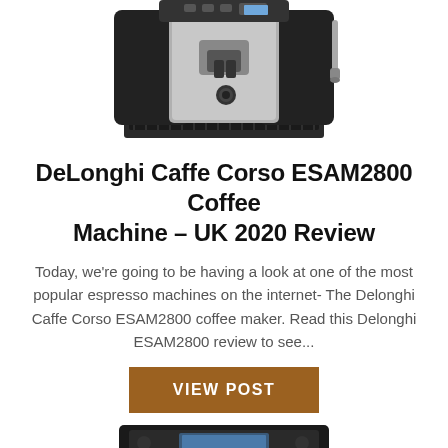[Figure (photo): Photo of a DeLonghi Caffe Corso ESAM2800 espresso coffee machine, silver and black, shown from the front, partially cropped at the top]
DeLonghi Caffe Corso ESAM2800 Coffee Machine – UK 2020 Review
Today, we're going to be having a look at one of the most popular espresso machines on the internet- The Delonghi Caffe Corso ESAM2800 coffee maker. Read this Delonghi ESAM2800 review to see...
VIEW POST
[Figure (photo): Partial photo of another coffee machine, cropped at the bottom of the page, showing the top portion]